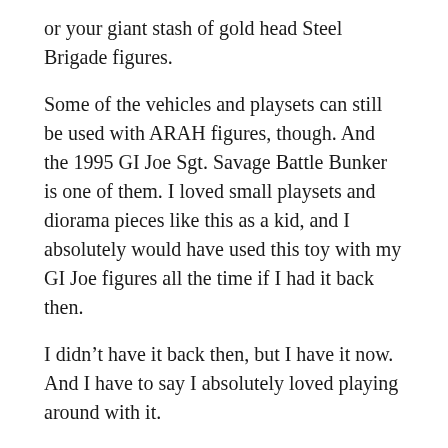or your giant stash of gold head Steel Brigade figures.
Some of the vehicles and playsets can still be used with ARAH figures, though. And the 1995 GI Joe Sgt. Savage Battle Bunker is one of them. I loved small playsets and diorama pieces like this as a kid, and I absolutely would have used this toy with my GI Joe figures all the time if I had it back then.
I didn't have it back then, but I have it now. And I have to say I absolutely loved playing around with it.
Onto the review!
1995 GI Joe Sgt. Savage Battle